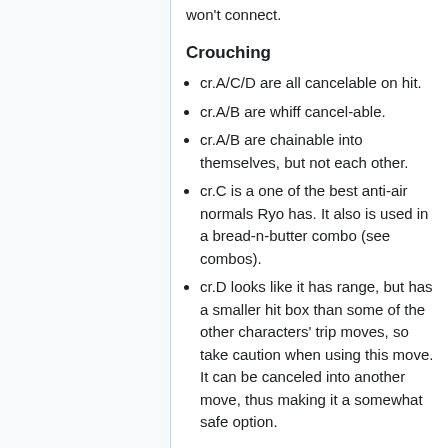won't connect.
Crouching
cr.A/C/D are all cancelable on hit.
cr.A/B are whiff cancel-able.
cr.A/B are chainable into themselves, but not each other.
cr.C is a one of the best anti-air normals Ryo has. It also is used in a bread-n-butter combo (see combos).
cr.D looks like it has range, but has a smaller hit box than some of the other characters' trip moves, so take caution when using this move. It can be canceled into another move, thus making it a somewhat safe option.
Jumping
All of Ryo's jump normals have different animations between diagonal and neutral jump.